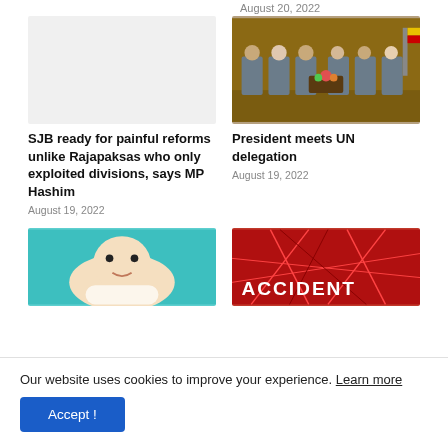August 20, 2022
[Figure (photo): Blank/white placeholder image for a news article]
SJB ready for painful reforms unlike Rajapaksas who only exploited divisions, says MP Hashim
August 19, 2022
[Figure (photo): Meeting room scene with people seated in chairs, appears to be a formal diplomatic meeting]
President meets UN delegation
August 19, 2022
[Figure (photo): Baby or young child lying down, teal/green background]
[Figure (photo): Red background with shattered glass effect and text reading ACCIDENT]
Our website uses cookies to improve your experience. Learn more
Accept !